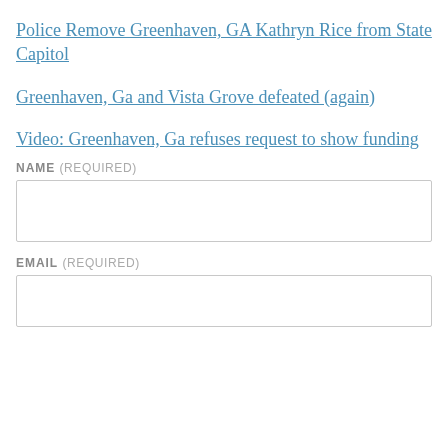Police Remove Greenhaven, GA Kathryn Rice from State Capitol
Greenhaven, Ga and Vista Grove defeated (again)
Video: Greenhaven, Ga refuses request to show funding
NAME (REQUIRED)
EMAIL (REQUIRED)